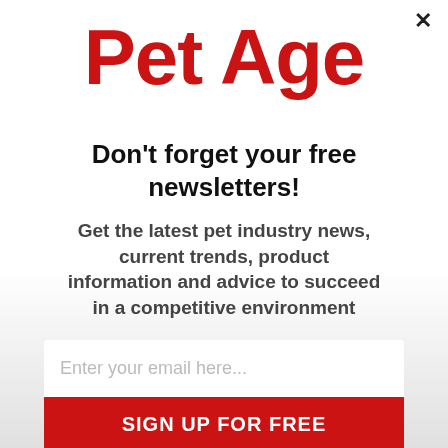[Figure (logo): Pet Age logo in bold red text]
Don't forget your free newsletters!
Get the latest pet industry news, current trends, product information and advice to succeed in a competitive environment
Enter your email here...
SIGN UP FOR FREE